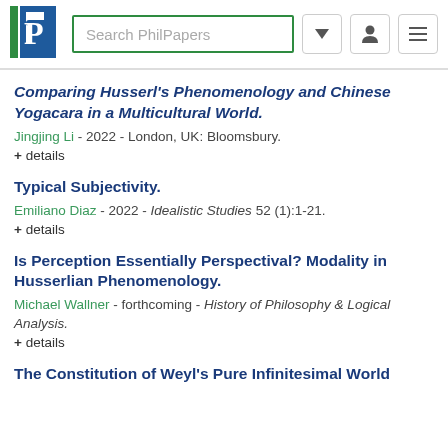Search PhilPapers
Comparing Husserl's Phenomenology and Chinese Yogacara in a Multicultural World.
Jingjing Li - 2022 - London, UK: Bloomsbury.
+ details
Typical Subjectivity.
Emiliano Diaz - 2022 - Idealistic Studies 52 (1):1-21.
+ details
Is Perception Essentially Perspectival? Modality in Husserlian Phenomenology.
Michael Wallner - forthcoming - History of Philosophy & Logical Analysis.
+ details
The Constitution of Weyl's Pure Infinitesimal World